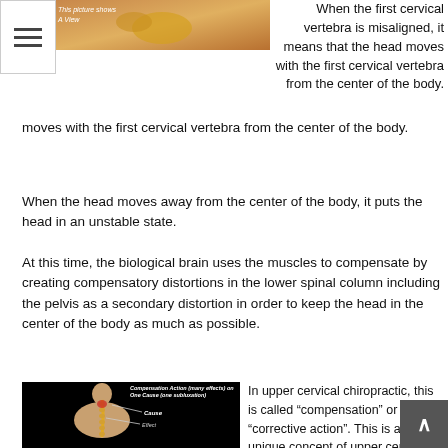[Figure (photo): Top image showing a view of the cervical vertebra area, golden/yellow colored anatomical illustration on a skin-toned background. Text overlay reads 'This picture shows A View']
When the first cervical vertebra is misaligned, it means that the head moves with the first cervical vertebra from the center of the body.
When the head moves away from the center of the body, it puts the head in an unstable state.
At this time, the biological brain uses the muscles to compensate by creating compensatory distortions in the lower spinal column including the pelvis as a secondary distortion in order to keep the head in the center of the body as much as possible.
[Figure (photo): Image on black background showing a back view of a human figure with spine highlighted in gold. Text labels: 'Compensation Action (many effects) on One Cause (one subluxation)', 'Cause' with arrow, 'Effect' with arrow]
In upper cervical chiropractic, this is called “compensation” or “corrective action”. This is a unique concept of upper cervical chiropractic